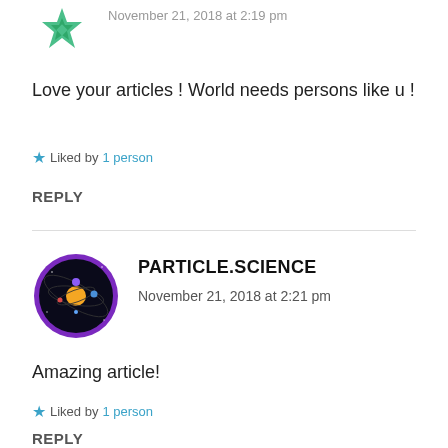[Figure (illustration): Green snowflake avatar icon, partially visible at top left]
November 21, 2018 at 2:19 pm
Love your articles ! World needs persons like u !
★ Liked by 1 person
REPLY
[Figure (illustration): Circular purple-bordered avatar showing solar system illustration]
PARTICLE.SCIENCE
November 21, 2018 at 2:21 pm
Amazing article!
★ Liked by 1 person
REPLY